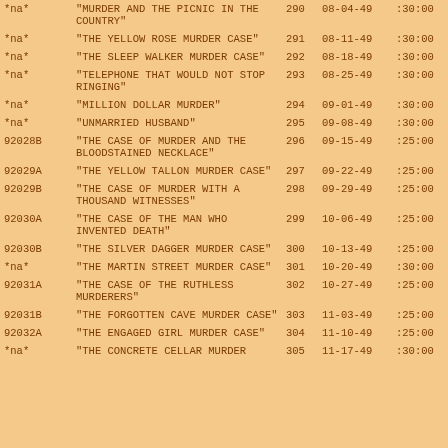| ID | Title | Ep# | Date | Duration |
| --- | --- | --- | --- | --- |
| *na* | "MURDER AND THE PICNIC IN THE COUNTRY" | 290 | 08-04-49 | :30:00 |
| *na* | "THE YELLOW ROSE MURDER CASE" | 291 | 08-11-49 | :30:00 |
| *na* | "THE SLEEP WALKER MURDER CASE" | 292 | 08-18-49 | :30:00 |
| *na* | "TELEPHONE THAT WOULD NOT STOP RINGING" | 293 | 08-25-49 | :30:00 |
| *na* | "MILLION DOLLAR MURDER" | 294 | 09-01-49 | :30:00 |
| *na* | "UNMARRIED HUSBAND" | 295 | 09-08-49 | :30:00 |
| 92028B | "THE CASE OF MURDER AND THE BLOODSTAINED NECKLACE" | 296 | 09-15-49 | :25:00 |
| 92029A | "THE YELLOW TALLON MURDER CASE" | 297 | 09-22-49 | :25:00 |
| 92029B | "THE CASE OF MURDER WITH A THOUSAND WITNESSES" | 298 | 09-29-49 | :25:00 |
| 92030A | "THE CASE OF THE MAN WHO INVENTED DEATH" | 299 | 10-06-49 | :25:00 |
| 92030B | "THE SILVER DAGGER MURDER CASE" | 300 | 10-13-49 | :25:00 |
| *na* | "THE MARTIN STREET MURDER CASE" | 301 | 10-20-49 | :30:00 |
| 92031A | "THE CASE OF THE RUTHLESS MURDERERS" | 302 | 10-27-49 | :25:00 |
| 92031B | "THE FORGOTTEN CAVE MURDER CASE" | 303 | 11-03-49 | :25:00 |
| 92032A | "THE ENGAGED GIRL MURDER CASE" | 304 | 11-10-49 | :25:00 |
| *na* | "THE CONCRETE CELLAR MURDER | 305 | 11-17-49 | :30:00 |